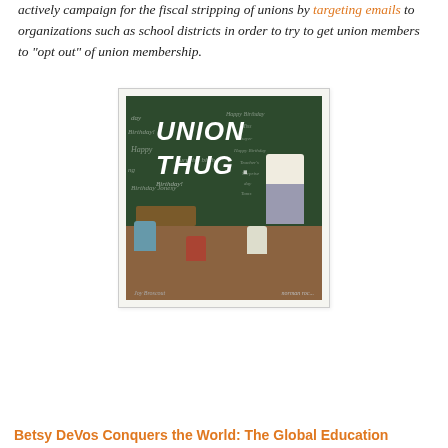actively campaign for the fiscal stripping of unions by targeting emails to organizations such as school districts in order to try to get union members to "opt out" of union membership.
[Figure (illustration): A Norman Rockwell-style classroom illustration modified with 'UNION THUG' written in chalk on the blackboard. A teacher stands at the front of the classroom while students sit at desks with their backs to the viewer.]
Betsy DeVos Conquers the World: The Global Education